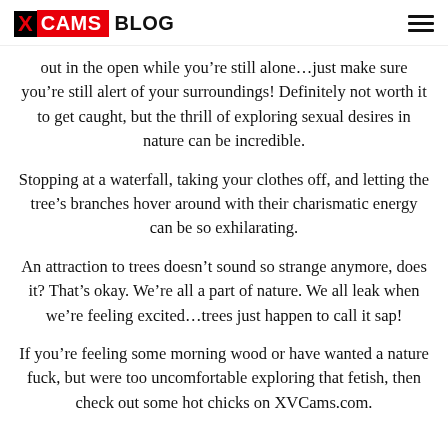XV CAMS BLOG
out in the open while you’re still alone…just make sure you’re still alert of your surroundings! Definitely not worth it to get caught, but the thrill of exploring sexual desires in nature can be incredible.
Stopping at a waterfall, taking your clothes off, and letting the tree’s branches hover around with their charismatic energy can be so exhilarating.
An attraction to trees doesn’t sound so strange anymore, does it? That’s okay. We’re all a part of nature. We all leak when we’re feeling excited…trees just happen to call it sap!
If you’re feeling some morning wood or have wanted a nature fuck, but were too uncomfortable exploring that fetish, then check out some hot chicks on XVCams.com.